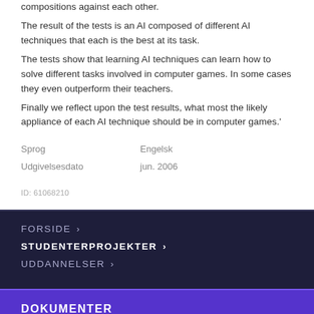compositions against each other.
The result of the tests is an AI composed of different AI techniques that each is the best at its task.
The tests show that learning AI techniques can learn how to solve different tasks involved in computer games. In some cases they even outperform their teachers.
Finally we reflect upon the test results, what most the likely appliance of each AI technique should be in computer games.'
Sprog   Engelsk
Udgivelsesdato   jun. 2006
ID: 61068210
FORSIDE ›
STUDENTERPROJEKTER ›
UDDANNELSER ›
DOKUMENTER
1150372229.pdf